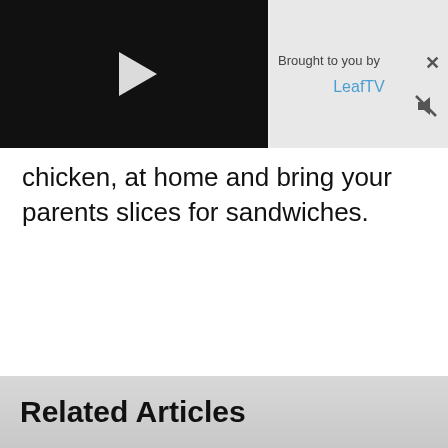[Figure (screenshot): Video player with black background and white play button triangle, alongside an ad panel with 'Brought to you by LeafTV' text and close/mute buttons]
chicken, at home and bring your parents slices for sandwiches.
Related Articles